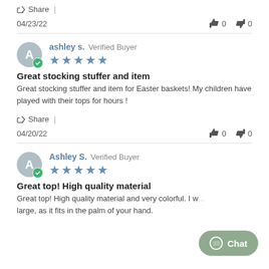Share |
04/23/22   👍 0  👎 0
ashley s.  Verified Buyer ★★★★★
Great stocking stuffer and item
Great stocking stuffer and item for Easter baskets! My children have played with their tops for hours !
Share |
04/20/22   👍 0  👎 0
Ashley S.  Verified Buyer ★★★★★
Great top! High quality material
Great top! High quality material and very colorful. I w... large, as it fits in the palm of your hand.
[Figure (other): Chat button widget in bottom right corner]